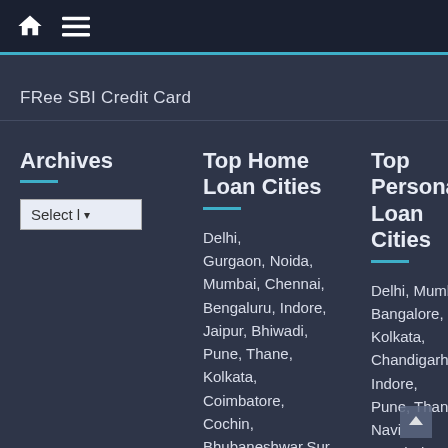Home | Menu
FRee SBI Credit Card
Archives
Select |
Top Home Loan Cities
Delhi, Gurgaon, Noida, Mumbai, Chennai, Bengaluru, Indore, Jaipur, Bhiwadi, Pune, Thane, Kolkata, Coimbatore, Cochin, Bhubaneshwar, Surat, Bhopal ,Lucknow,
Top Personal Loan Cities
Delhi, Mumbai, Bangalore, Kolkata, Chandigarh, Indore, Pune, Thane, Navi Mumbai, Nashik, Bhubaneshwar, Kochi, Surat, Bhopal, Gurgaon, Noida, Chennai, Jaipur, Coimbatore, Lucknow, Baroda,